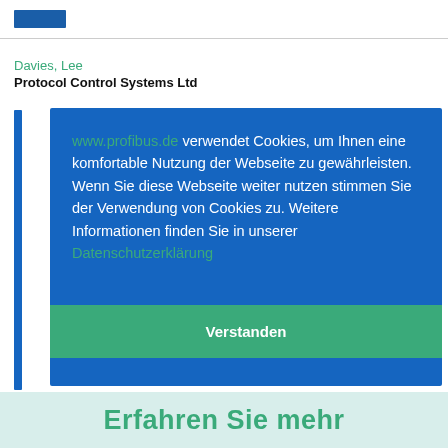Davies, Lee
Protocol Control Systems Ltd
[Figure (screenshot): Cookie consent modal overlay on www.profibus.de website. Blue background dialog with text in German: 'www.profibus.de verwendet Cookies, um Ihnen eine komfortable Nutzung der Webseite zu gewährleisten. Wenn Sie diese Webseite weiter nutzen stimmen Sie der Verwendung von Cookies zu. Weitere Informationen finden Sie in unserer Datenschutzerklärung' with a green 'Verstanden' button at the bottom.]
Erfahren Sie mehr